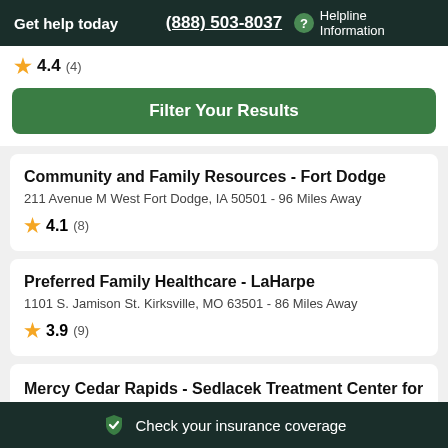Get help today  (888) 503-8037  ? Helpline Information
★ 4.4 (4)
Filter Your Results
Community and Family Resources - Fort Dodge
211 Avenue M West Fort Dodge, IA 50501 - 96 Miles Away
★ 4.1 (8)
Preferred Family Healthcare - LaHarpe
1101 S. Jamison St. Kirksville, MO 63501 - 86 Miles Away
★ 3.9 (9)
Mercy Cedar Rapids - Sedlacek Treatment Center for Substance Abuse
Check your insurance coverage